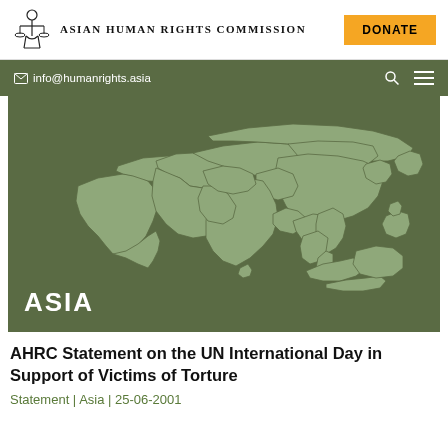Asian Human Rights Commission | DONATE
info@humanrights.asia
[Figure (map): Map of Asia with country borders shown in light sage green on a darker olive-green background, with the word ASIA in large white bold text at the bottom left]
AHRC Statement on the UN International Day in Support of Victims of Torture
Statement | Asia | 25-06-2001